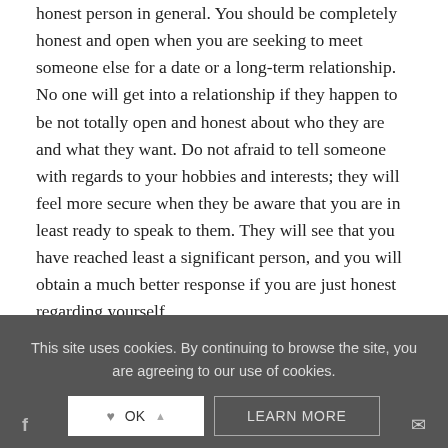Second, honesty – This is a huge part of being a very good, honest person in general. You should be completely honest and open when you are seeking to meet someone else for a date or a long-term relationship. No one will get into a relationship if they happen to be not totally open and honest about who they are and what they want. Do not afraid to tell someone with regards to your hobbies and interests; they will feel more secure when they be aware that you are in least ready to speak to them. They will see that you have reached least a significant person, and you will obtain a much better response if you are just honest regarding yourself.
AUGUST 16, 2020  |  BY H K
This site uses cookies. By continuing to browse the site, you are agreeing to our use of cookies.
OK  LEARN MORE